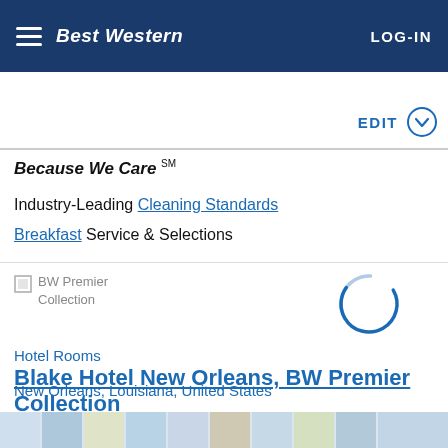Best Western | LOG-IN
EDIT
Because We Care SM
Industry-Leading Cleaning Standards
Breakfast Service & Selections
[Figure (logo): BW Premier Collection logo placeholder and a loading spinner circle]
Hotel Rooms
Blake Hotel New Orleans, BW Premier Collection
New Orleans, Louisiana, United States
[Figure (photo): Decorative image strip at the bottom of the page showing tile/mosaic pattern]